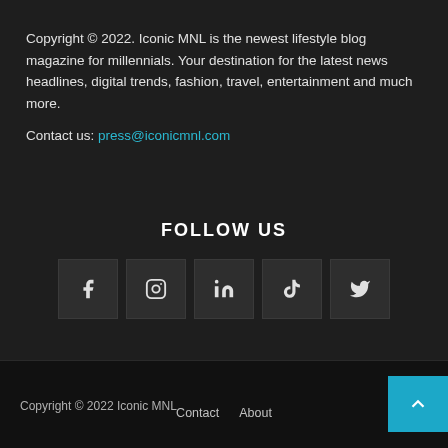Copyright © 2022. Iconic MNL is the newest lifestyle blog magazine for millennials. Your destination for the latest news headlines, digital trends, fashion, travel, entertainment and much more.
Contact us: press@iconicmnl.com
FOLLOW US
[Figure (infographic): Five social media icon boxes: Facebook (f), Instagram (circle icon), LinkedIn (in), TikTok, Twitter (bird)]
Copyright © 2022 Iconic MNL
Contact  About